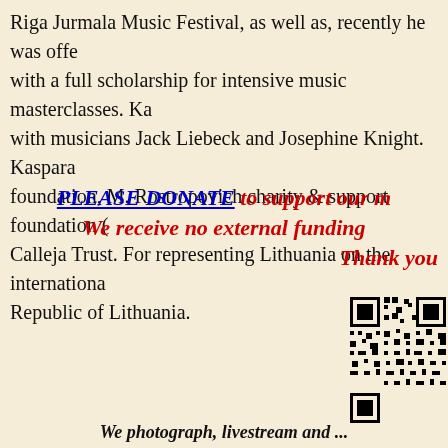Riga Jurmala Music Festival, as well as, recently he was offered with a full scholarship for intensive music masterclasses. Kaspara with musicians Jack Liebeck and Josephine Knight. Kaspara foundation, M. Rostropovich charity & support foundation ( Calleja Trust. For representing Lithuania on the international Republic of Lithuania.
PLEASE DONATE to support our m We receive no external funding Thank you
[Figure (other): QR code for donations, partially visible at right edge of page]
We photograph, livestream and ...